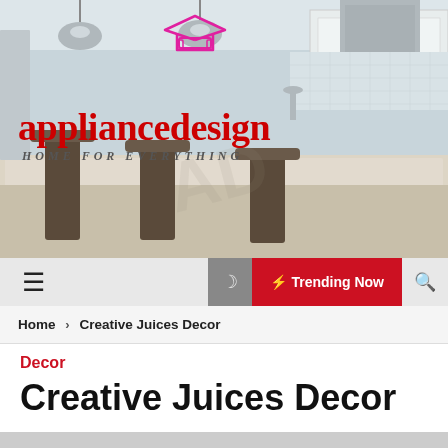[Figure (photo): Kitchen interior photo with granite island and bar stools, white cabinets, stainless steel appliances, pendant lights. Overlaid with appliancedesign logo in red with house/sofa icon and tagline HOME FOR EVERYTHING.]
☰  ☽  ⚡ Trending Now  🔍
Home > Creative Juices Decor
Decor
Creative Juices Decor